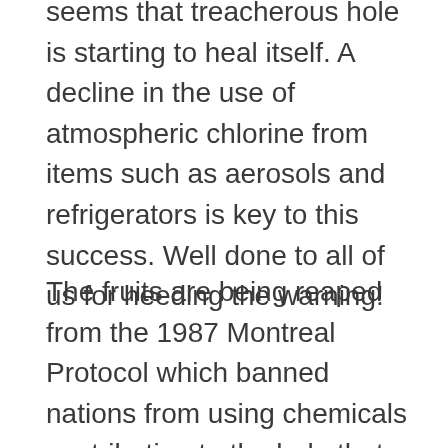seems that treacherous hole is starting to heal itself. A decline in the use of atmospheric chlorine from items such as aerosols and refrigerators is key to this success. Well done to all of us for heeding the warning!
The fruits are being reaped from the 1987 Montreal Protocol which banned nations from using chemicals contributing to the hole that was allowing the sun's ultraviolet radiation to pass into our